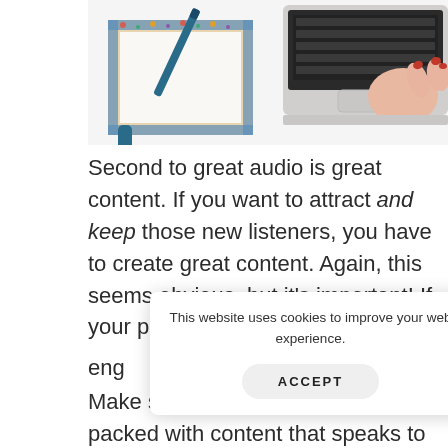[Figure (photo): Overhead view of a notebook with a floral border, a blue pen, a blue marker cap, and a laptop with a woman's hand on the trackpad, on a white surface.]
Second to great audio is great content. If you want to attract and keep those new listeners, you have to create great content. Again, this seems obvious, but it's important! If your poc... eng...
This website uses cookies to improve your web experience.
ACCEPT
Make sure each episode is jam-packed with content that speaks to your target audience